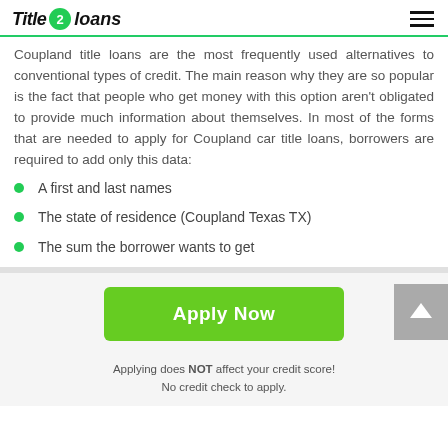Title 2 loans
Coupland title loans are the most frequently used alternatives to conventional types of credit. The main reason why they are so popular is the fact that people who get money with this option aren't obligated to provide much information about themselves. In most of the forms that are needed to apply for Coupland car title loans, borrowers are required to add only this data:
A first and last names
The state of residence (Coupland Texas TX)
The sum the borrower wants to get
[Figure (other): Green Apply Now button]
Applying does NOT affect your credit score! No credit check to apply.